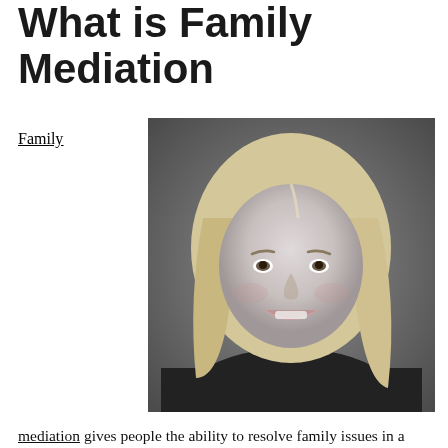What is Family Mediation
Family
[Figure (photo): Black and white professional headshot of a smiling blonde woman in business attire]
mediation gives people the ability to resolve family issues in a private setting with the help of an unbiased person. A common reason to seek mediation is a pending divorce, an undecided